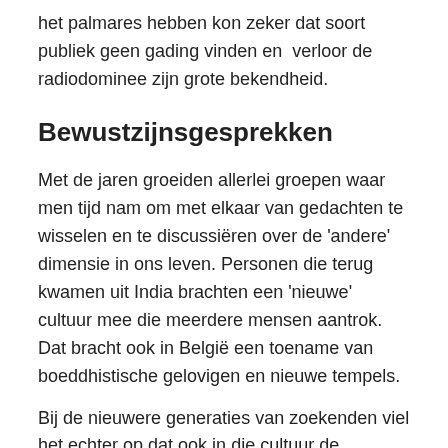het palmares hebben kon zeker dat soort publiek geen gading vinden en verloor de radiodominee zijn grote bekendheid.
Bewustzijnsgesprekken
Met de jaren groeiden allerlei groepen waar men tijd nam om met elkaar van gedachten te wisselen en te discussiëren over de 'andere' dimensie in ons leven. Personen die terug kwamen uit India brachten een 'nieuwe' cultuur mee die meerdere mensen aantrok. Dat bracht ook in België een toename van boeddhistische gelovigen en nieuwe tempels.
Bij de nieuwere generaties van zoekenden viel het echter op dat ook in die cultuur de opvolging gebroken was en